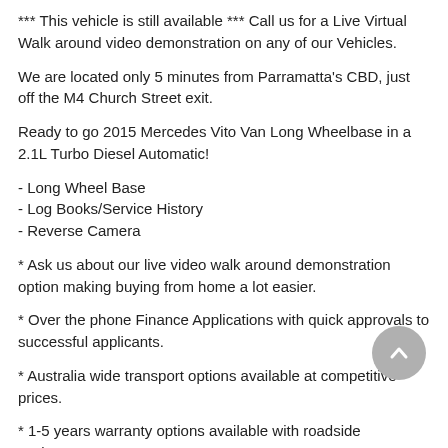*** This vehicle is still available *** Call us for a Live Virtual Walk around video demonstration on any of our Vehicles.
We are located only 5 minutes from Parramatta's CBD, just off the M4 Church Street exit.
Ready to go 2015 Mercedes Vito Van Long Wheelbase in a 2.1L Turbo Diesel Automatic!
- Long Wheel Base
- Log Books/Service History
- Reverse Camera
* Ask us about our live video walk around demonstration option making buying from home a lot easier.
* Over the phone Finance Applications with quick approvals to successful applicants.
* Australia wide transport options available at competitive prices.
* 1-5 years warranty options available with roadside assistance